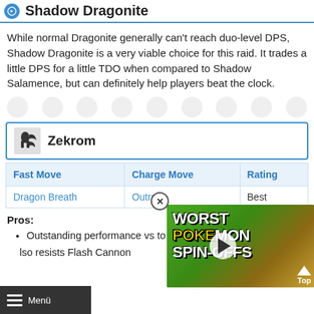Shadow Dragonite
While normal Dragonite generally can't reach duo-level DPS, Shadow Dragonite is a very viable choice for this raid. It trades a little DPS for a little TDO when compared to Shadow Salamence, but can definitely help players beat the clock.
Zekrom
| Fast Move | Charge Move | Rating |
| --- | --- | --- |
| Dragon Breath | Outrage | Best |
Pros:
Outstanding performance vs ... to double resistance. Can hel...
lso resists Flash Cannon
[Figure (screenshot): Video thumbnail overlay showing 'WORST POKEMON SPIN-OFFS' text with play button and Pikachu imagery]